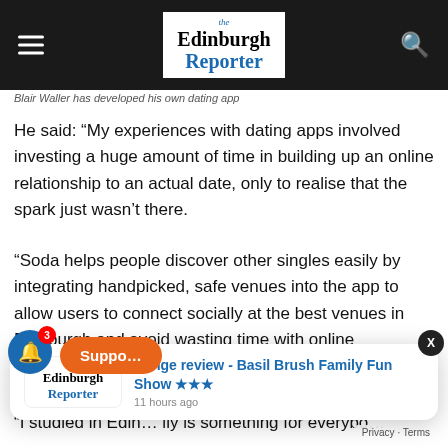the Edinburgh Reporter
Blair Waller has developed his own dating app
He said: “My experiences with dating apps involved investing a huge amount of time in building up an online relationship to an actual date, only to realise that the spark just wasn’t there.
“Soda helps people discover other singles easily by integrating handpicked, safe venues into the app to allow users to connect socially at the best venues in Edinburgh and avoid wasting time with online connections.
“I studied in Edin… ily is something for everybo…
[Figure (screenshot): Notification popup showing Edinburgh Reporter logo and article: Fringe review - Basil Brush Family Fun Show with star rating, 11 hours ago]
Fringe review - Basil Brush Family Fun Show ★★★ 11 hours ago